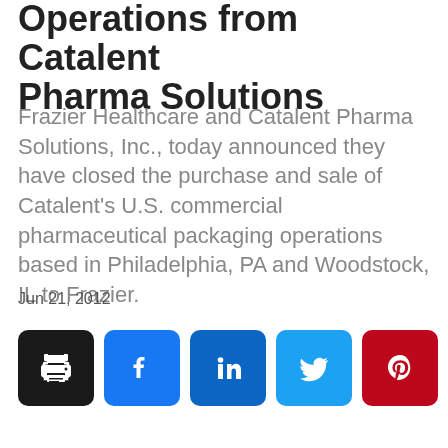Operations from Catalent Pharma Solutions
Frazier Healthcare and Catalent Pharma Solutions, Inc., today announced they have closed the purchase and sale of Catalent's U.S. commercial pharmaceutical packaging operations based in Philadelphia, PA and Woodstock, IL to Frazier.
Jun 21, 2012
[Figure (infographic): Row of social sharing buttons: print (black), Facebook (blue), LinkedIn (dark blue), Twitter (light blue), Pinterest (dark red)]